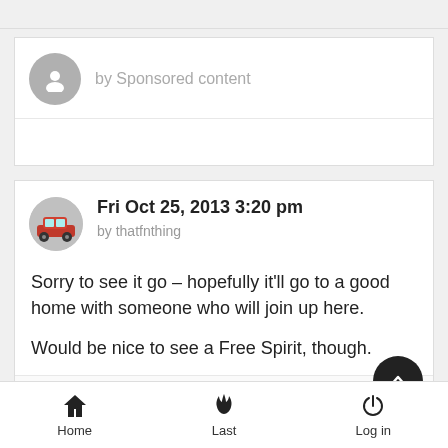by Sponsored content
Fri Oct 25, 2013 3:20 pm
by thatfnthing
Sorry to see it go – hopefully it'll go to a good home with someone who will join up here.

Would be nice to see a Free Spirit, though.
Like  Dislike
Home  Last  Log in